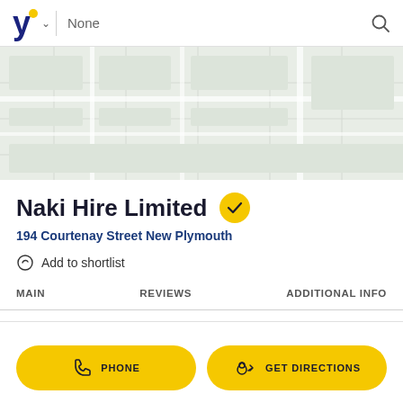[Figure (screenshot): Yellow Pages (Yell) mobile app navigation bar with logo 'y', dropdown chevron, vertical divider, search field showing 'None', and search icon]
[Figure (map): Map area showing street map background]
Naki Hire Limited
194 Courtenay Street New Plymouth
Add to shortlist
MAIN
REVIEWS
ADDITIONAL INFO
PHONE
GET DIRECTIONS